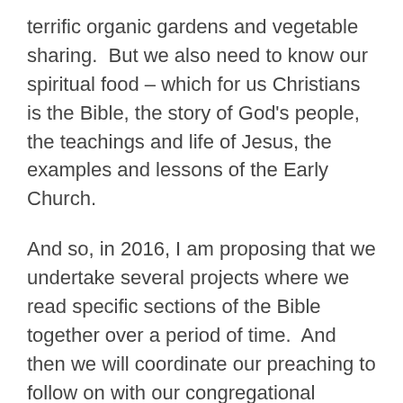terrific organic gardens and vegetable sharing.  But we also need to know our spiritual food – which for us Christians is the Bible, the story of God's people, the teachings and life of Jesus, the examples and lessons of the Early Church.
And so, in 2016, I am proposing that we undertake several projects where we read specific sections of the Bible together over a period of time.  And then we will coordinate our preaching to follow on with our congregational reading and exploration of the text together.
So, I bring 2015 to its conclusion knowing that [God] was with us, and the Holy Spirit was amongst us in so many ways.  And I am looking forward to 2016 with